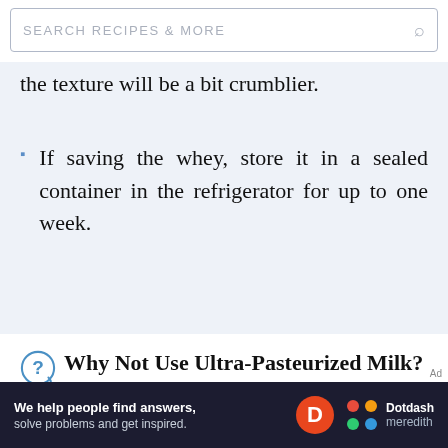SEARCH RECIPES & MORE
the texture will be a bit crumblier.
If saving the whey, store it in a sealed container in the refrigerator for up to one week.
Why Not Use Ultra-Pasteurized Milk?
UHT, or ultra-high temperature processing, is a widely used food process that sterilizes dairy and other products like wine, fruit, and soy products to eliminate many forms
[Figure (logo): Dotdash Meredith advertisement banner at the bottom of the page. Text reads: We help people find answers, solve problems and get inspired. Dotdash meredith logo with colorful dots icon.]